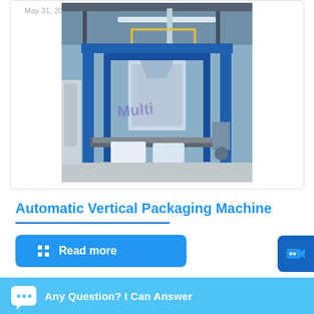May 31, 2019
[Figure (photo): Industrial automatic vertical packaging machine in a warehouse, featuring a blue steel frame structure with conveyor belts and packaging equipment. Watermark text 'Multi' visible on image.]
Automatic Vertical Packaging Machine
Read more
Any Question? I Can Answer